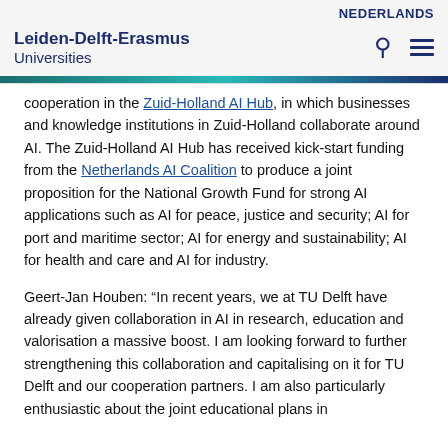NEDERLANDS | Leiden-Delft-Erasmus Universities
cooperation in the Zuid-Holland AI Hub, in which businesses and knowledge institutions in Zuid-Holland collaborate around AI. The Zuid-Holland AI Hub has received kick-start funding from the Netherlands AI Coalition to produce a joint proposition for the National Growth Fund for strong AI applications such as AI for peace, justice and security; AI for port and maritime sector; AI for energy and sustainability; AI for health and care and AI for industry.
Geert-Jan Houben: “In recent years, we at TU Delft have already given collaboration in AI in research, education and valorisation a massive boost. I am looking forward to further strengthening this collaboration and capitalising on it for TU Delft and our cooperation partners. I am also particularly enthusiastic about the joint educational plans in